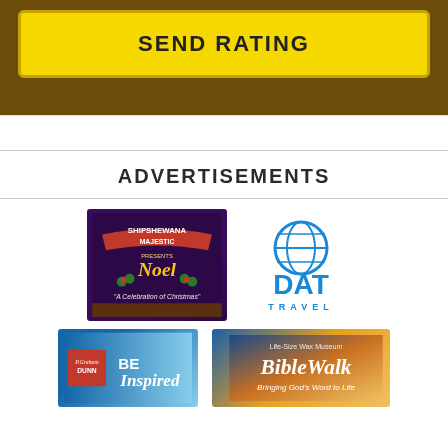[Figure (other): Send Rating button — yellow button with bold text 'SEND RATING' on a dark brown background]
ADVERTISEMENTS
[Figure (logo): Shipshewana Majestic Presents Noel - A Celebration of Christmas advertisement logo on purple background]
[Figure (logo): DAT Travel logo with blue globe icon and blue lettering]
[Figure (logo): P Graham Dunn - Be Inspired advertisement with sky background]
[Figure (logo): BibleWalk Life-Size Wax Museum - Bringing God's Word to Life advertisement]